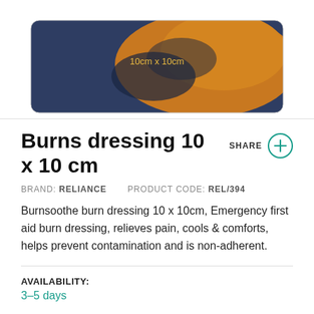[Figure (photo): Product photo of Burnsoothe burn dressing 10cm x 10cm package, dark navy and orange packaging with label showing '10cm x 10cm']
Burns dressing 10 x 10 cm
BRAND: RELIANCE   PRODUCT CODE: REL/394
Burnsoothe burn dressing 10 x 10cm, Emergency first aid burn dressing, relieves pain, cools & comforts, helps prevent contamination and is non-adherent.
AVAILABILITY:
3–5 days